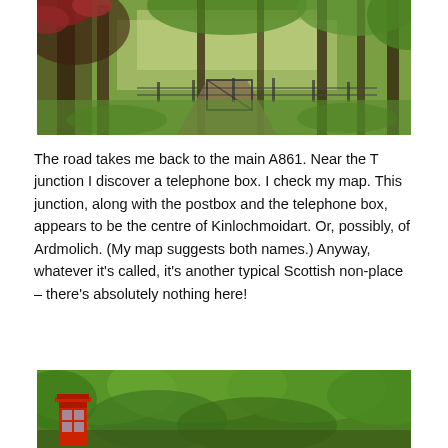[Figure (photo): A woodland path or driveway flanked by trees with green foliage and red flowering rhododendrons on the left, leading to a gate in the background. Lush green grass and vegetation surround the path.]
The road takes me back to the main A861. Near the T junction I discover a telephone box. I check my map. This junction, along with the postbox and the telephone box, appears to be the centre of Kinlochmoidart. Or, possibly, of Ardmolich. (My map suggests both names.) Anyway, whatever it's called, it's another typical Scottish non-place – there's absolutely nothing here!
[Figure (photo): Dense green woodland/tree canopy photographed from below or at ground level. A red British telephone box is visible in the lower left corner among the greenery.]